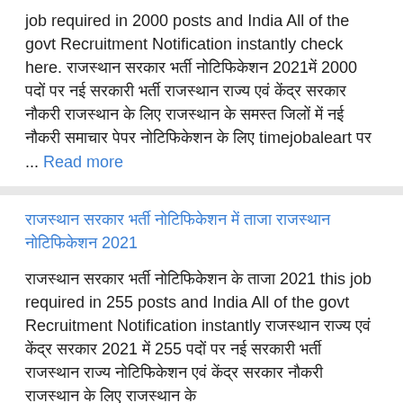job required in 2000 posts and India All of the govt Recruitment Notification instantly check here. राजस्थान सरकार भर्ती नोटिफिकेशन 2021में 2000 पदों पर नई सरकारी भर्ती राजस्थान राज्य एवं केंद्र सरकार नौकरी राजस्थान के लिए राजस्थान के समस्त जिलों में नई नौकरी समाचार पेपर नोटिफिकेशन के लिए timejobaleart पर ... Read more
राजस्थान सरकार भर्ती नोटिफिकेशन में ताजा राजस्थान नोटिफिकेशन 2021
राजस्थान सरकार भर्ती नोटिफिकेशन के ताजा 2021 this job required in 255 posts and India All of the govt Recruitment Notification instantly राजस्थान राज्य एवं केंद्र सरकार 2021 में 255 पदों पर नई सरकारी भर्ती राजस्थान राज्य नोटिफिकेशन एवं केंद्र सरकार नौकरी राजस्थान के लिए राजस्थान के